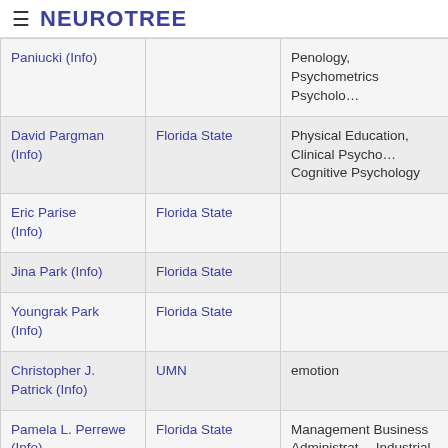≡ NEUROTREE
| Name | Institution | Specialization |
| --- | --- | --- |
| Paniucki (Info) |  | Penology, Psychometrics Psychology |
| David Pargman (Info) | Florida State | Physical Education, Clinical Psychology, Cognitive Psychology |
| Eric Parise (Info) | Florida State |  |
| Jina Park (Info) | Florida State |  |
| Youngrak Park (Info) | Florida State |  |
| Christopher J. Patrick (Info) | UMN | emotion |
| Pamela L. Perrewe (Info) | Florida State | Management Business Administration, Industrial Psychology |
| William M. Perry (Info) | Florida State |  |